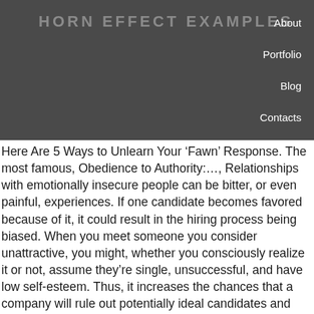HORN EFFECT EXAMPLES
About
Portfolio
Blog
Contacts
Here Are 5 Ways to Unlearn Your ‘Fawn’ Response. The most famous, Obedience to Authority:…, Relationships with emotionally insecure people can be bitter, or even painful, experiences. If one candidate becomes favored because of it, it could result in the hiring process being biased. When you meet someone you consider unattractive, you might, whether you consciously realize it or not, assume they’re single, unsuccessful, and have low self-esteem. Thus, it increases the chances that a company will rule out potentially ideal candidates and hire the wrong people instead. There’s a flip side of the Halo Effect — the Horns Effect. That’s where the term “halo effect” comes from. He